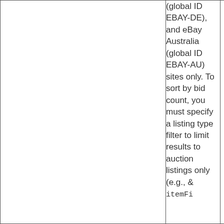(global ID EBAY-DE), and eBay Australia (global ID EBAY-AU) sites only. To sort by bid count, you must specify a listing type filter to limit results to auction listings only (e.g., & itemFi